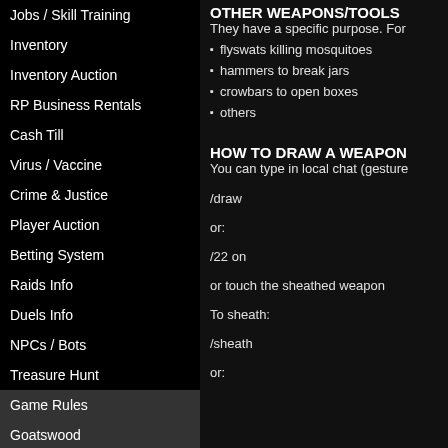Jobs / Skill Training
Inventory
Inventory Auction
RP Business Rentals
Cash Till
Virus / Vaccine
Crime & Justice
Player Auction
Betting System
Raids Info
Duels Info
NPCs / Bots
Treasure Hunt
Game Rules
Goatswood
Kingdom of Sand
OTHER WEAPONS/TOOLS
They have a specific purpose. For
flyswats killing mosquitoes
hammers to break jars
crowbars to open boxes
others
HOW TO DRAW A WEAPON
You can type in local chat (gesture
/draw
or:
/22 on
or touch the sheathed weapon
To sheath:
/sheath
or: